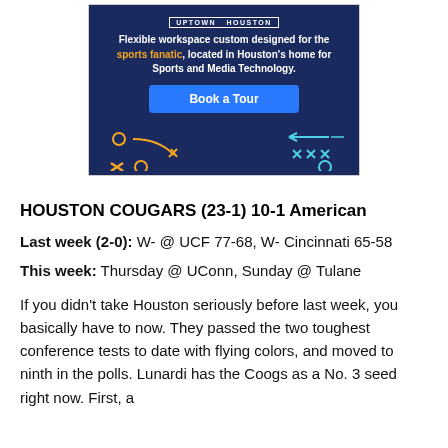[Figure (screenshot): Advertisement banner for Uptown Houston flexible workspace with blue background, 'Book a Tour' button, sports play diagram decorations, and text about workspace for sports fanatics.]
HOUSTON COUGARS (23-1) 10-1 American
Last week (2-0): W- @ UCF 77-68, W- Cincinnati 65-58
This week: Thursday @ UConn, Sunday @ Tulane
If you didn't take Houston seriously before last week, you basically have to now. They passed the two toughest conference tests to date with flying colors, and moved to ninth in the polls. Lunardi has the Coogs as a No. 3 seed right now. First, a